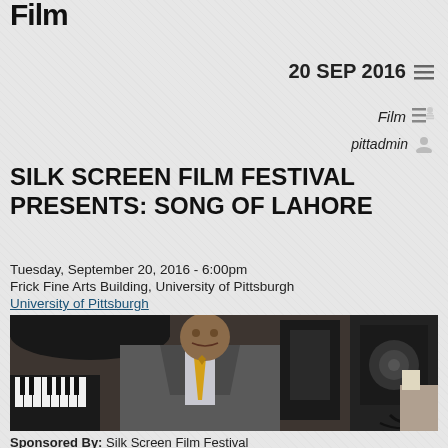Film
20 SEP 2016
Film
pittadmin
SILK SCREEN FILM FESTIVAL PRESENTS: SONG OF LAHORE
Tuesday, September 20, 2016 - 6:00pm
Frick Fine Arts Building, University of Pittsburgh
University of Pittsburgh
[Figure (photo): A man in a grey suit with a yellow tie seated in front of a piano, with audio equipment visible in the background]
Sponsored By: Silk Screen Film Festival
Lahore used to be a mecca of Pakistani culture, a thriving center of art, music and poetry. When the